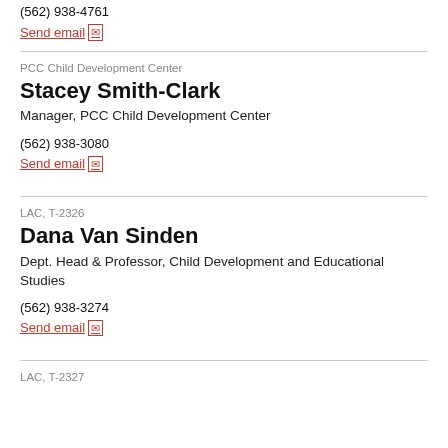(562) 938-4761
Send email
PCC Child Development Center
Stacey Smith-Clark
Manager, PCC Child Development Center
(562) 938-3080
Send email
LAC, T-2326
Dana Van Sinden
Dept. Head & Professor, Child Development and Educational Studies
(562) 938-3274
Send email
LAC, T-2327